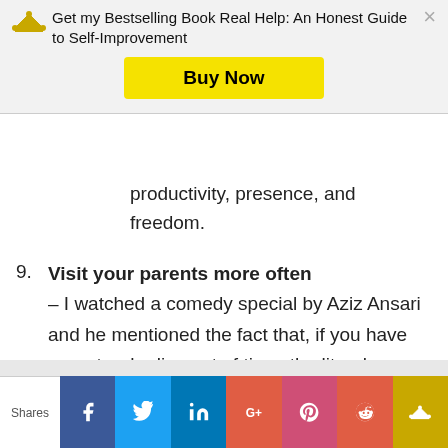Get my Bestselling Book Real Help: An Honest Guide to Self-Improvement
productivity, presence, and freedom.
9. Visit your parents more often – I watched a comedy special by Aziz Ansari and he mentioned the fact that, if you have parents who live out of time, the literal amount of times you will see them before they die isn't high. At 30, I'm starting to see my parents age. I'm making it a point
Shares | Facebook | Twitter | LinkedIn | Google+ | Pocket | Reddit | Crown